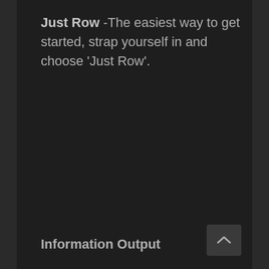Just Row -The easiest way to get started, strap yourself in and choose 'Just Row'.
Information Output